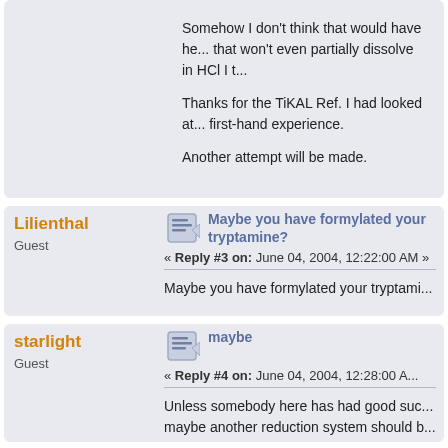Somehow I don't think that would have he... that won't even partially dissolve in HCl I t...

Thanks for the TiKAL Ref. I had looked at... first-hand experience.

Another attempt will be made.
Lilienthal
Guest
Maybe you have formylated your tryptamine?
« Reply #3 on: June 04, 2004, 12:22:00 AM »
Maybe you have formylated your tryptami...
starlight
Guest
maybe
« Reply #4 on: June 04, 2004, 12:28:00 A...
Unless somebody here has had good suc... maybe another reduction system should b...